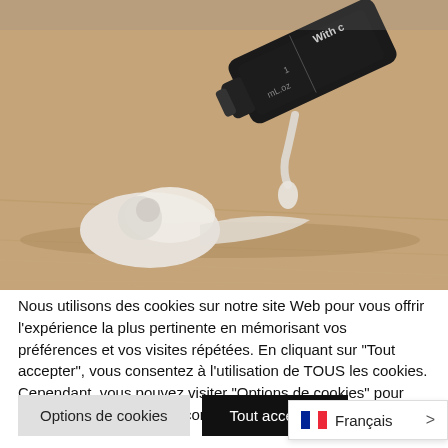[Figure (photo): A dark dropper/serum bottle tipped on its side on a wooden surface, with a white liquid/gel spilling out. The bottle has measurement markings and text 'With c' visible. The background is warm tan/wood toned.]
Nous utilisons des cookies sur notre site Web pour vous offrir l'expérience la plus pertinente en mémorisant vos préférences et vos visites répétées. En cliquant sur "Tout accepter", vous consentez à l'utilisation de TOUS les cookies. Cependant, vous pouvez visiter "Options de cookies" pour fournir un consentement contrôlé.
Options de cookies
Tout accepter
Français